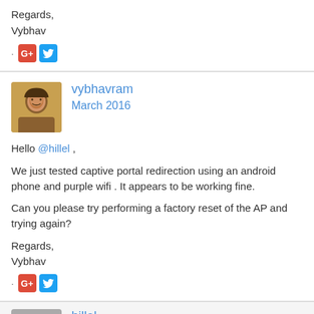Regards,
Vybhav
[Figure (other): Social share icons: Google+ and Twitter]
vybhavram
March 2016
Hello @hillel ,

We just tested captive portal redirection using an android phone and purple wifi . It appears to be working fine.

Can you please try performing a factory reset of the AP and trying again?

Regards,
Vybhav
[Figure (other): Social share icons: Google+ and Twitter]
hillel